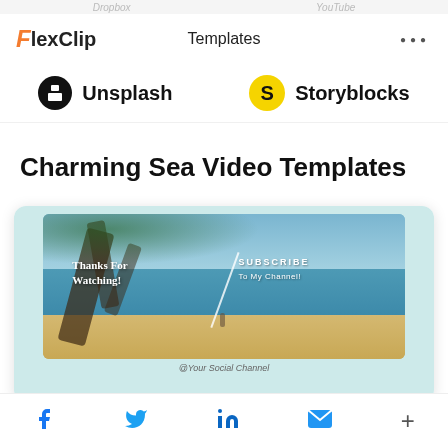FlexClip   Templates   ...
[Figure (logo): Unsplash and Storyblocks brand logos row]
Charming Sea Video Templates
[Figure (screenshot): Video template preview card with beach scene. Text overlay: Thanks For Watching! SUBSCRIBE To My Channel! @Your Social Channel]
Social share icons: Facebook, Twitter, LinkedIn, Email, plus button